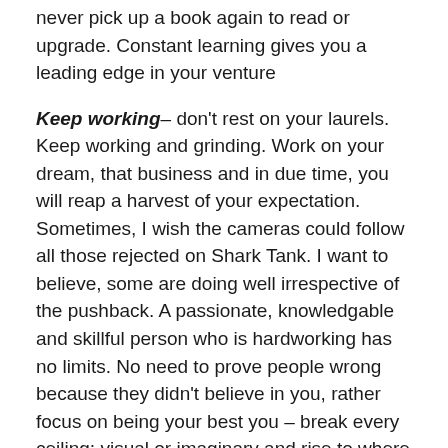never pick up a book again to read or upgrade. Constant learning gives you a leading edge in your venture
Keep working– don't rest on your laurels. Keep working and grinding. Work on your dream, that business and in due time, you will reap a harvest of your expectation. Sometimes, I wish the cameras could follow all those rejected on Shark Tank. I want to believe, some are doing well irrespective of the pushback. A passionate, knowledgable and skillful person who is hardworking has no limits. No need to prove people wrong because they didn't believe in you, rather focus on being your best you – break every ceiling; visual or imaginary and rise to where you belong- the top
Don't take “NO” for an answer from no one if it is possible and in sight. Personally, the most important “NO” is from